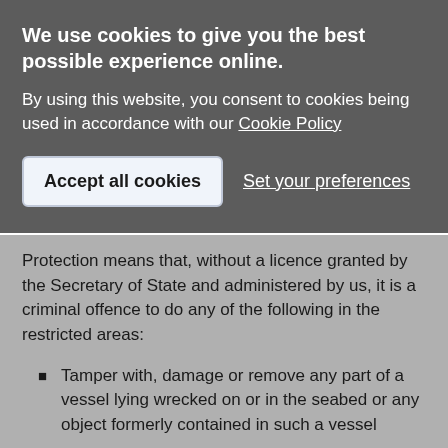We use cookies to give you the best possible experience online.
By using this website, you consent to cookies being used in accordance with our Cookie Policy
Accept all cookies
Set your preferences
Protection means that, without a licence granted by the Secretary of State and administered by us, it is a criminal offence to do any of the following in the restricted areas:
Tamper with, damage or remove any part of a vessel lying wrecked on or in the seabed or any object formerly contained in such a vessel
Carry out diving or salvage operations directed to the exploration of a wreck or to